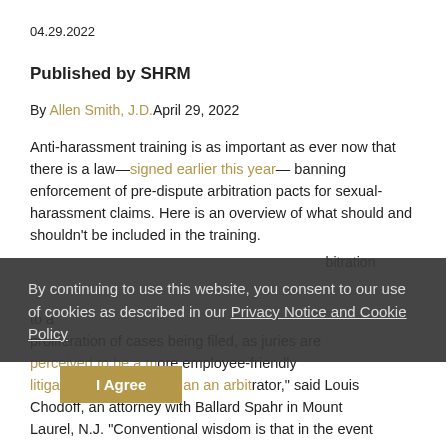04.29.2022
Published by SHRM
By Allen Smith, J.D.April 29, 2022
Anti-harassment training is as important as ever now that there is a law—signed earlier this year—banning enforcement of pre-dispute arbitration pacts for sexual-harassment claims. Here is an overview of what should and shouldn't be included in the training.
By continuing to use this website, you consent to our use of cookies as described in our Privacy Notice and Cookie Policy
I Agree
...to a proliferation of cases being filed, as juries are perceived to be a more employee-friendly litigation environment than an arbitrator," said Louis Chodoff, an attorney with Ballard Spahr in Mount Laurel, N.J. "Conventional wisdom is that in the event